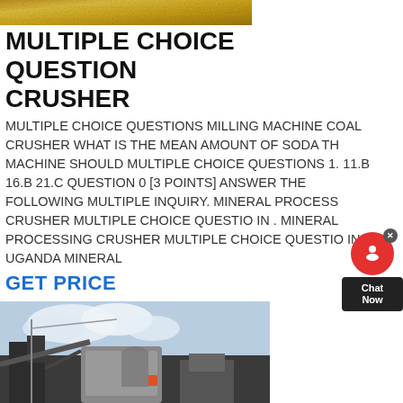[Figure (photo): Golden/sandy textured banner image at top of page]
MULTIPLE CHOICE QUESTION CRUSHER
MULTIPLE CHOICE QUESTIONS MILLING MACHINE COAL CRUSHER WHAT IS THE MEAN AMOUNT OF SODA TH MACHINE SHOULD MULTIPLE CHOICE QUESTIONS 1. 11.B 16.B 21.C QUESTION 0 [3 POINTS] ANSWER THE FOLLOWING MULTIPLE INQUIRY. MINERAL PROCESS CRUSHER MULTIPLE CHOICE QUESTIO IN . MINERAL PROCESSING CRUSHER MULTIPLE CHOICE QUESTIO IN UGANDA MINERAL
GET PRICE
[Figure (photo): Industrial crusher/mining equipment machinery photo with blue sky background]